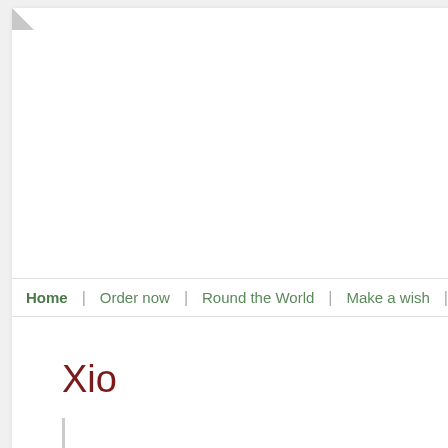Home | Order now | Round the World | Make a wish | Phot…
Xio